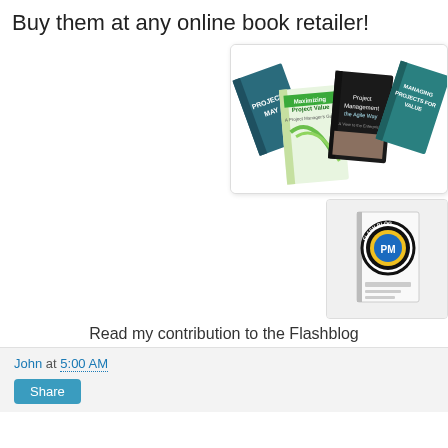Buy them at any online book retailer!
[Figure (illustration): A collection of project management books fanned out, including 'Maximizing Project Value', 'Project Management the Agile Way', 'Managing Projects for Value', and others.]
[Figure (illustration): A book or booklet with a PM Flash Blog circular logo badge featuring 'PM' letters and '2013' text.]
Read my contribution to the Flashblog
John at 5:00 AM
Share